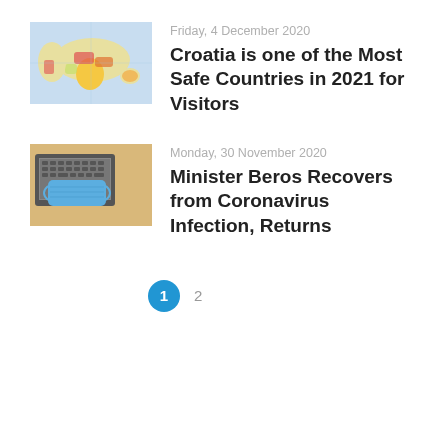[Figure (photo): World map showing countries colored in various colors (red, yellow, green, orange) indicating COVID-19 safety levels]
Friday, 4 December 2020
Croatia is one of the Most Safe Countries in 2021 for Visitors
[Figure (photo): Laptop keyboard with a blue surgical face mask placed on top, on a wooden desk]
Monday, 30 November 2020
Minister Beros Recovers from Coronavirus Infection, Returns
1  2